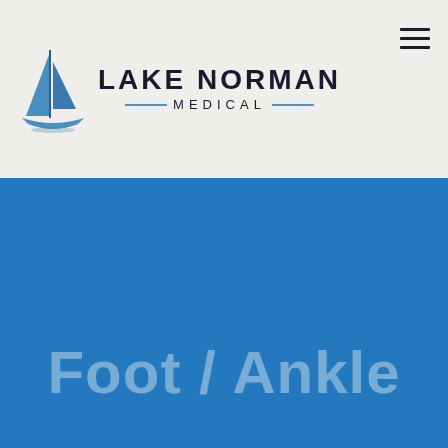[Figure (logo): Lake Norman Medical logo with sailboat icon and text 'LAKE NORMAN MEDICAL']
[Figure (illustration): Blue hero banner background for Foot / Ankle section]
Foot / Ankle